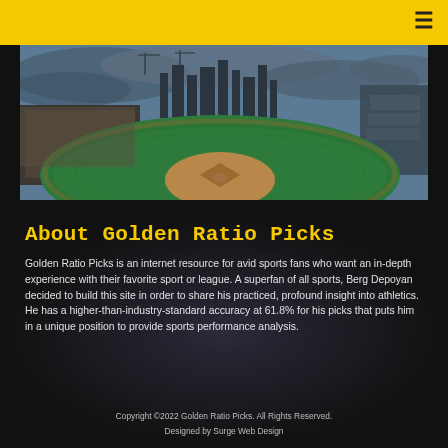≡
[Figure (photo): Wide-angle panoramic photo of a baseball stadium packed with fans, showing the green field, pitcher's mound, and a city skyline with cranes in the background under a dramatic cloudy sky.]
About Golden Ratio Picks
Golden Ratio Picks is an internet resource for avid sports fans who want an in-depth experience with their favorite sport or league. A superfan of all sports, Berg Depoyan decided to build this site in order to share his practiced, profound insight into athletics. He has a higher-than-industry-standard accuracy at 61.8% for his picks that puts him in a unique position to provide sports performance analysis.
Copyright ©2022 Golden Ratio Picks. All Rights Reserved.
Designed by Surge Web Design